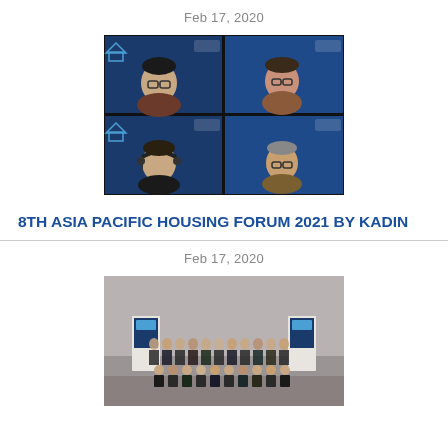Feb 17, 2020
[Figure (photo): Virtual meeting screenshot showing four participants in a 2x2 grid video call, each in front of a housing forum branded background with logos.]
8TH ASIA PACIFIC HOUSING FORUM 2021 BY KADIN
Feb 17, 2020
[Figure (photo): Group photo of approximately 40 attendees in formal attire posing in front of a grey wall backdrop at a conference event.]